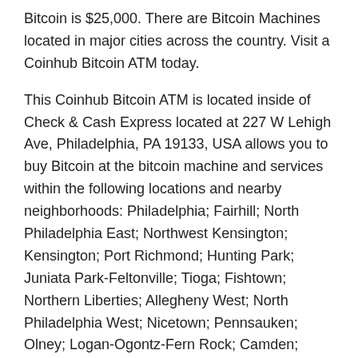Bitcoin is $25,000. There are Bitcoin Machines located in major cities across the country. Visit a Coinhub Bitcoin ATM today.
This Coinhub Bitcoin ATM is located inside of Check & Cash Express located at 227 W Lehigh Ave, Philadelphia, PA 19133, USA allows you to buy Bitcoin at the bitcoin machine and services within the following locations and nearby neighborhoods: Philadelphia; Fairhill; North Philadelphia East; Northwest Kensington; Kensington; Port Richmond; Hunting Park; Juniata Park-Feltonville; Tioga; Fishtown; Northern Liberties; Allegheny West; North Philadelphia West; Nicetown; Pennsauken; Olney; Logan-Ogontz-Fern Rock; Camden; Pyne Poynt; Cooper Point; Cramer Hill; Fairmount; Chinatown; Center City East; Biedeman; East Falls; Frankford; Bridesburg; Fairmount Park; Lawncrest; Logan